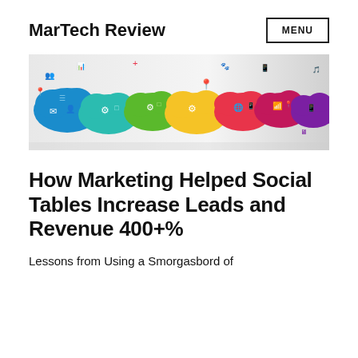MarTech Review
[Figure (illustration): Colorful banner illustration showing various cloud icons with digital marketing and social media symbols including email, chat, settings, location pin, RSS, mobile devices, and people icons in blue, green, yellow, orange, red, pink, and purple colors on a white/gray gradient background.]
How Marketing Helped Social Tables Increase Leads and Revenue 400+%
Lessons from Using a Smorgasbord of